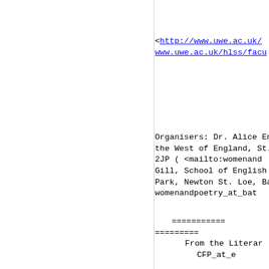<http://www.uwe.ac.uk/ ... www.uwe.ac.uk/hlss/facu...
Organisers: Dr. Alice Ent... the West of England, St. ... 2JP ( <mailto:womenand... Gill, School of English & ... Park, Newton St. Loe, Ba... womenandpoetry_at_bat...
============= ========= From the Litera... CFP_at_e...